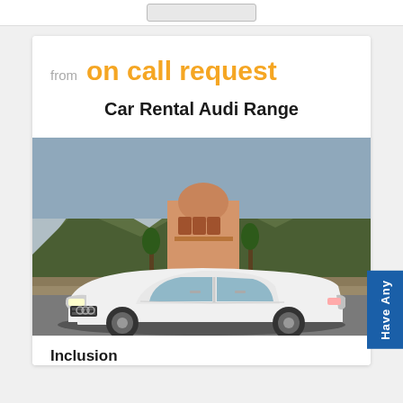from on call request
Car Rental Audi Range
[Figure (photo): White Audi A8 sedan parked in front of a Rajasthani palace/monument with mountains and trees in the background, taken in India]
Inclusion